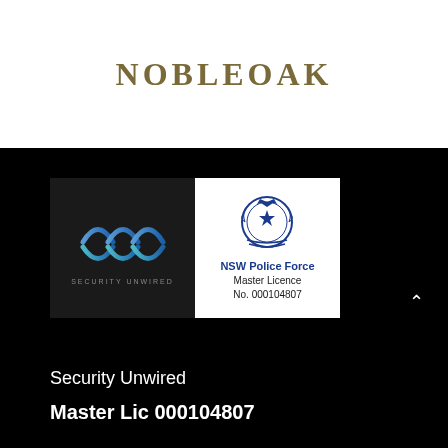[Figure (logo): NobleOak logo — serif uppercase lettering in golden/olive brown]
[Figure (logo): Security Unwired logo — stylised triple wave/arch design in blue gradient on dark background with text SECURITY UNWIRED]
[Figure (logo): NSW Police Force Master Licence badge — blue crest emblem with text NSW Police Force Master Licence No. 000104807]
Security Unwired
Master Lic 000104807